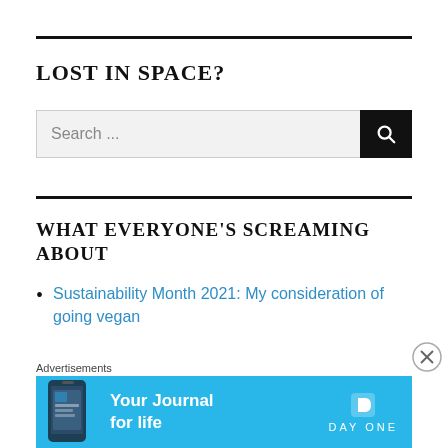LOST IN SPACE?
[Figure (other): Search bar with text input field saying 'Search ...' and a black search button with magnifying glass icon]
WHAT EVERYONE'S SCREAMING ABOUT
Sustainability Month 2021: My consideration of going vegan
[Figure (infographic): Advertisement banner: 'Your Journal for life' with Day One app logo, shown on light blue background with phone image]